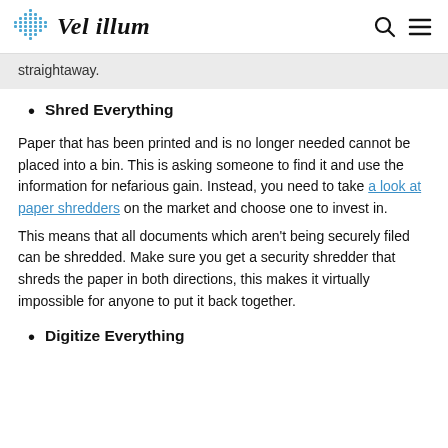Vel illum
straightaway.
Shred Everything
Paper that has been printed and is no longer needed cannot be placed into a bin. This is asking someone to find it and use the information for nefarious gain. Instead, you need to take a look at paper shredders on the market and choose one to invest in.
This means that all documents which aren't being securely filed can be shredded. Make sure you get a security shredder that shreds the paper in both directions, this makes it virtually impossible for anyone to put it back together.
Digitize Everything